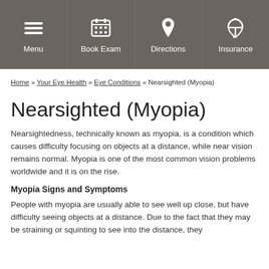Menu | Book Exam | Directions | Insurance
Home » Your Eye Health » Eye Conditions » Nearsighted (Myopia)
Nearsighted (Myopia)
Nearsightedness, technically known as myopia, is a condition which causes difficulty focusing on objects at a distance, while near vision remains normal. Myopia is one of the most common vision problems worldwide and it is on the rise.
Myopia Signs and Symptoms
People with myopia are usually able to see well up close, but have difficulty seeing objects at a distance. Due to the fact that they may be straining or squinting to see into the distance, they